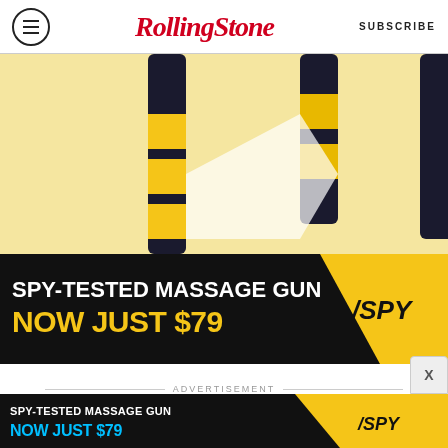RollingStone — SUBSCRIBE
[Figure (photo): Spy-Tested Massage Gun advertisement banner with yellow and black color scheme showing massage gun devices. Text reads: SPY-TESTED MASSAGE GUN NOW JUST $79 / SPY logo]
ADVERTISEMENT
[Figure (photo): Bottom sticky Spy-Tested Massage Gun advertisement banner. Text reads: SPY-TESTED MASSAGE GUN NOW JUST $79 / SPY logo with close X button]